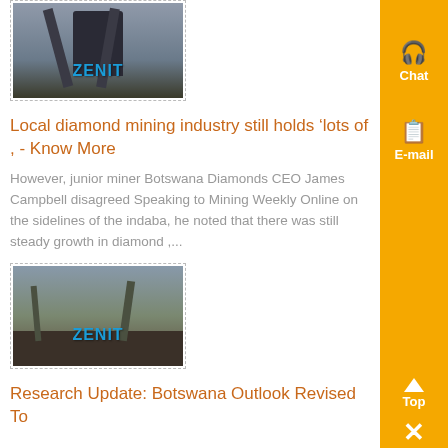[Figure (photo): Mining machine in industrial facility with ZENIT watermark]
Local diamond mining industry still holds ‘lots of , - Know More
However, junior miner Botswana Diamonds CEO James Campbell disagreed Speaking to Mining Weekly Online on the sidelines of the indaba, he noted that there was still steady growth in diamond ,...
[Figure (photo): Open pit mining scene with ZENIT watermark]
Research Update: Botswana Outlook Revised To